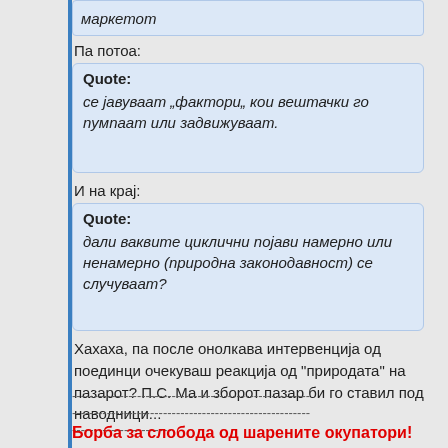маркетот
Па потоа:
Quote: се јавуваат „фактори„ кои вештачки го пумпаат или задвижуваат.
И на крај:
Quote: дали ваквите циклични појави намерно или ненамерно (природна законодавност) се случуваат?
Хахаха, па после онолкава интервенција од поединци очекуваш реакција од "природата" на пазарот? П.С. Ма и зборот пазар би го ставил под наводници...
---------------------------------------------------------------------------------------------------------------------------
Борба за слобода од шарените окупатори!